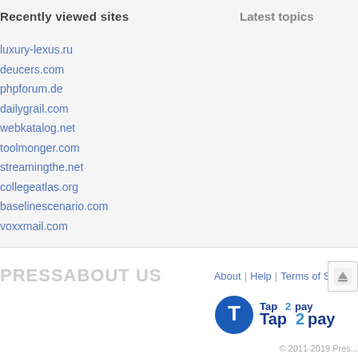Recently viewed sites
Latest topics
luxury-lexus.ru
deucers.com
phpforum.de
dailygrail.com
webkatalog.net
toolmonger.com
streamingthe.net
collegeatlas.org
baselinescenario.com
voxxmail.com
PRESSABOUT US
About | Help | Terms of Service
[Figure (logo): Tap2pay logo with stylized T icon in blue and a two-tone blue wordmark]
© 2011-2019 Pres...